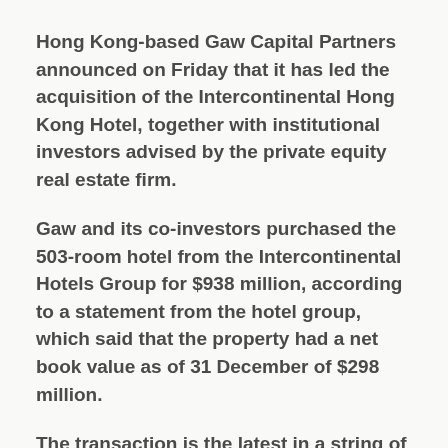Hong Kong-based Gaw Capital Partners announced on Friday that it has led the acquisition of the Intercontinental Hong Kong Hotel, together with institutional investors advised by the private equity real estate firm.
Gaw and its co-investors purchased the 503-room hotel from the Intercontinental Hotels Group for $938 million, according to a statement from the hotel group, which said that the property had a net book value as of 31 December of $298 million.
The transaction is the latest in a string of deals led by Gaw, which typically see the company investing together with mainland or South Korean institutional investors to acquire and renovate